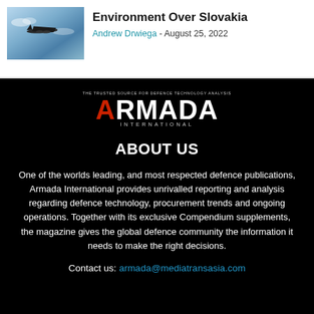[Figure (photo): Photo of a military aircraft flying against a blue sky background]
Environment Over Slovakia
Andrew Drwiega - August 25, 2022
[Figure (logo): Armada International logo — white bold letters on black background with tagline 'THE TRUSTED SOURCE FOR DEFENCE TECHNOLOGY ANALYSIS' and 'INTERNATIONAL' subtitle]
ABOUT US
One of the worlds leading, and most respected defence publications, Armada International provides unrivalled reporting and analysis regarding defence technology, procurement trends and ongoing operations. Together with its exclusive Compendium supplements, the magazine gives the global defence community the information it needs to make the right decisions.
Contact us: armada@mediatransasia.com